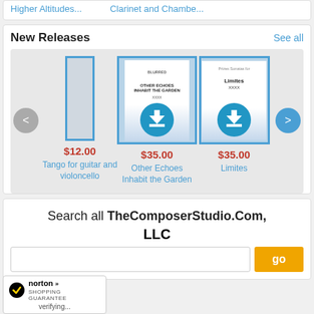Higher Altitudes...    Clarinet and Chambe...
New Releases
See all
[Figure (screenshot): Carousel of sheet music items. Left arrow (grey), three product tiles: 'Tango for guitar and violoncello' $12.00 (thin blue bordered rectangle), 'Other Echoes Inhabit the Garden' $35.00 (sheet music cover with download icon), 'Limites' $35.00 (sheet music cover with download icon), right arrow (blue).]
$12.00
Tango for guitar and violoncello
$35.00
Other Echoes Inhabit the Garden
$35.00
Limites
Search all TheComposerStudio.Com, LLC